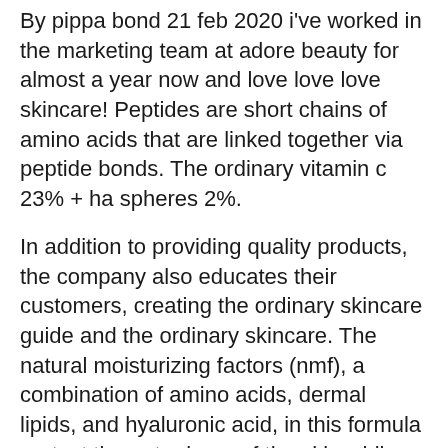By pippa bond 21 feb 2020 i've worked in the marketing team at adore beauty for almost a year now and love love love skincare! Peptides are short chains of amino acids that are linked together via peptide bonds. The ordinary vitamin c 23% + ha spheres 2%.
In addition to providing quality products, the company also educates their customers, creating the ordinary skincare guide and the ordinary skincare. The natural moisturizing factors (nmf), a combination of amino acids, dermal lipids, and hyaluronic acid, in this formula protect the outer layer of the skin while keeping it hydrated. Tips and tricksbeauty carebeauty skindiy beautyhomemade beautybeauty guideface beautybeauty ideasbeauty secrets.